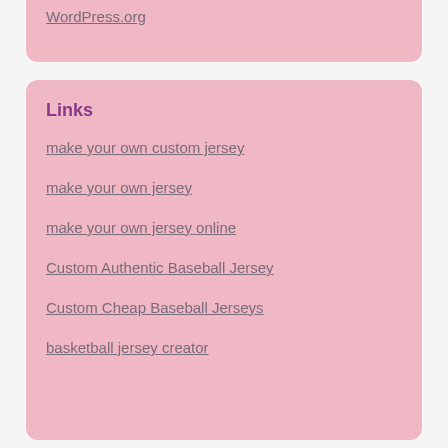WordPress.org
Links
make your own custom jersey
make your own jersey
make your own jersey online
Custom Authentic Baseball Jersey
Custom Cheap Baseball Jerseys
basketball jersey creator